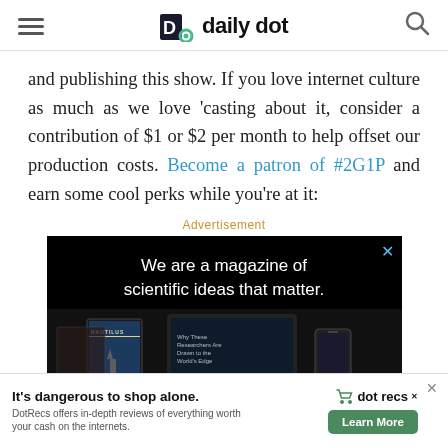daily dot
and publishing this show. If you love internet culture as much as we love 'casting about it, consider a contribution of $1 or $2 per month to help offset our production costs. Become a patron of #2G1P and earn some cool perks while you're at it:
Advertisement
[Figure (photo): Nautilus magazine advertisement with text 'We are a magazine of scientific ideas that matter.' on a black background with magazine and device imagery below]
[Figure (infographic): Bottom banner ad: 'It's dangerous to shop alone. DotRecs offers in-depth reviews of everything worth your cash on the internets.' with dot recs logo and Learn More button]